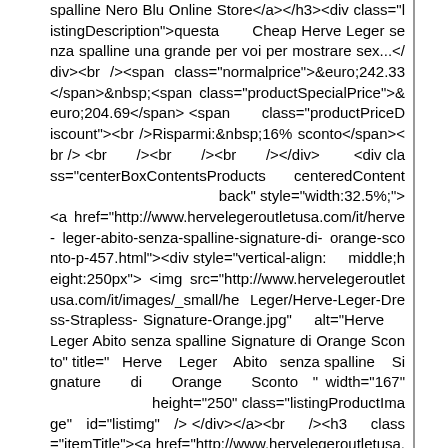spalline Nero Blu Online Store</a></h3><div class="listingDescription">questa Cheap Herve Leger senza spalline una grande per voi per mostrare sex...</div><br /><span class="normalprice">&euro;242.33 </span>&nbsp;<span class="productSpecialPrice">&euro;204.69</span> <span class="productPriceDiscount"><br />Risparmi:&nbsp;16% sconto</span><br /> <br /><br /><br /></div> <div class="centerBoxContentsProducts centeredContent back" style="width:32.5%;"><a href="http://www.hervelegeroutletusa.com/it/herve-leger-abito-senza-spalline-signature-di-orange-sconto-p-457.html"><div style="vertical-align: middle;height:250px"> <img src="http://www.hervelegeroutletusa.com/it/images/_small/heLeger/Herve-Leger-Dress-Strapless-Signature-Orange.jpg" alt="Herve Leger Abito senza spalline Signature di Orange Sconto" title=" Herve Leger Abito senza spalline Signature di Orange Sconto " width="167" height="250" class="listingProductImage" id="listimg" /> </div></a><br /><h3 class="itemTitle"><a href="http://www.hervelegeroutletusa.com/it/herve-leger-abito-senza-spalline-signature-di-orange-sconto-p-457.html">Herve Leger Abito senza spalline Signature di Ora...